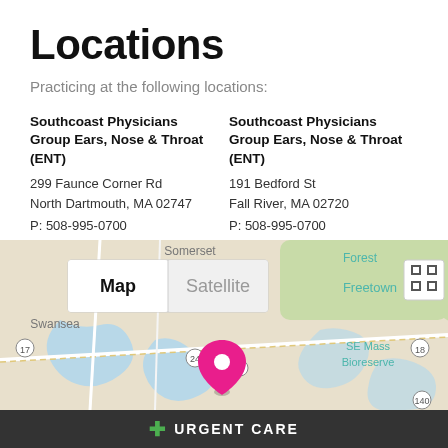Locations
Practicing at the following locations:
Southcoast Physicians Group Ears, Nose & Throat (ENT)
299 Faunce Corner Rd
North Dartmouth, MA 02747
P: 508-995-0700
GET DIRECTIONS →
Southcoast Physicians Group Ears, Nose & Throat (ENT)
191 Bedford St
Fall River, MA 02720
P: 508-995-0700
GET DIRECTIONS →
[Figure (map): Google Map showing the locations with a pink map pin marker, showing areas including Somerset, Forest, Freetown, Swansea, SE Mass Bioreserve, with Map/Satellite toggle buttons visible]
+ URGENT CARE